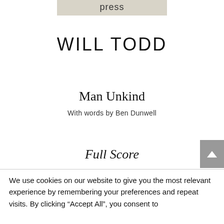press
WILL TODD
Man Unkind
With words by Ben Dunwell
Full Score
SATB with Strings, Harp and Percussion
We use cookies on our website to give you the most relevant experience by remembering your preferences and repeat visits. By clicking “Accept All”, you consent to